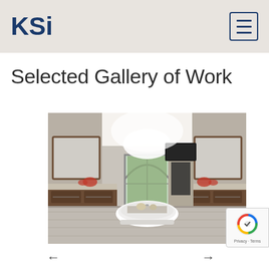[Figure (logo): KSI logo in dark navy blue bold text]
[Figure (other): Hamburger menu icon in a bordered square, navy blue lines]
Selected Gallery of Work
[Figure (photo): Luxury bathroom interior with freestanding white soaking tub, arched gothic window with garden view, dark wood vanities on both sides with marble countertops, fireplace, wall-mounted TV, and hardwood floors]
[Figure (other): reCAPTCHA badge with spinning shield icon, Privacy and Terms text]
←
→